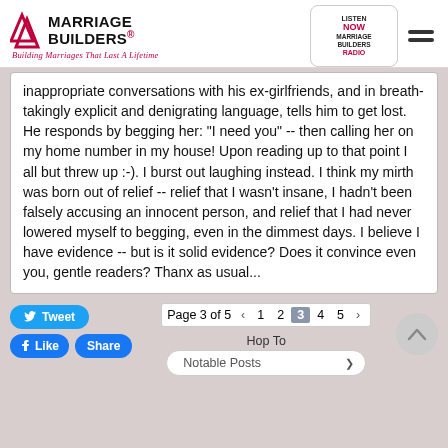[Figure (logo): Marriage Builders logo with red arrows and tagline 'Building Marriages That Last A Lifetime', alongside a 'Listen Now Marriage Builders Radio' badge and hamburger menu icon]
inappropriate conversations with his ex-girlfriends, and in breath-takingly explicit and denigrating language, tells him to get lost. He responds by begging her: "I need you" -- then calling her on my home number in my house! Upon reading up to that point I all but threw up :-). I burst out laughing instead. I think my mirth was born out of relief -- relief that I wasn't insane, I hadn't been falsely accusing an innocent person, and relief that I had never lowered myself to begging, even in the dimmest days. I believe I have evidence -- but is it solid evidence? Does it convince even you, gentle readers? Thanx as usual...
Page 3 of 5  ‹  1  2  3  4  5  ›
Hop To
Notable Posts